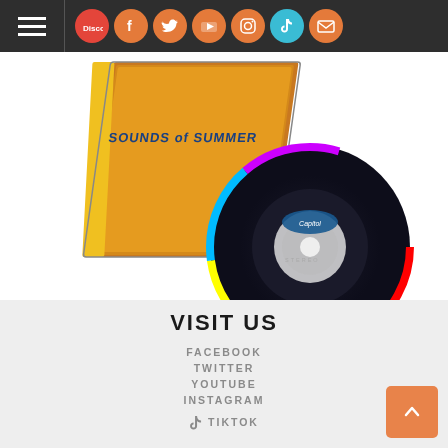[Figure (screenshot): Navigation bar with hamburger menu and social media icons (Discogs, Facebook, Twitter, YouTube, Instagram, TikTok, Email) on dark background]
[Figure (photo): Beach Boys 'Sounds of Summer' CD album cover and disc on white background]
VISIT US
FACEBOOK
TWITTER
YOUTUBE
INSTAGRAM
TIKTOK